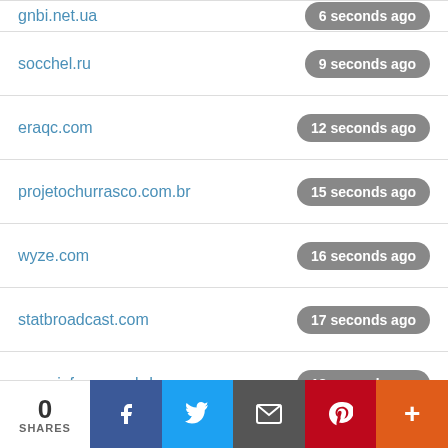gnbi.net.ua | 6 seconds ago
socchel.ru | 9 seconds ago
eraqc.com | 12 seconds ago
projetochurrasco.com.br | 15 seconds ago
wyze.com | 16 seconds ago
statbroadcast.com | 17 seconds ago
pressinform.gov.bd | 18 seconds ago
zentralschweiz-medien.ch | 21 seconds ago
peliculasyonkis.info | 22 seconds ago
metrolagu.online | 23 seconds ago
logs.tf | 24 seconds ago
insel.pl | 27 seconds ago
natureweight.ru | 29 seconds ago
0 SHARES | Facebook | Twitter | Email | Pinterest | More